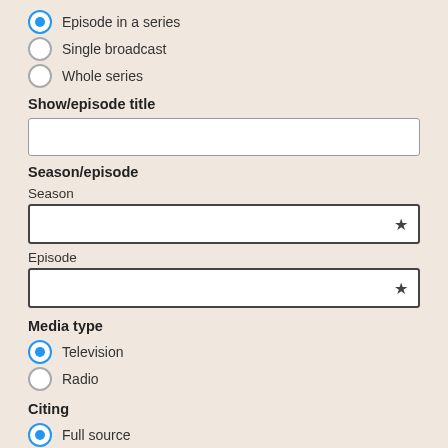Episode in a series
Single broadcast
Whole series
Show/episode title
Season/episode
Season
Episode
Media type
Television
Radio
Citing
Full source
A transcript